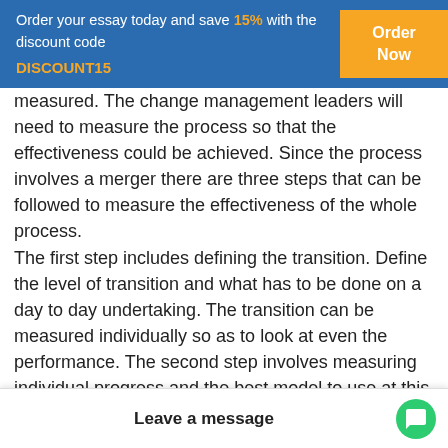Order your essay today and save 15% with the discount code DISCOUNT15 | Order Now
measured. The change management leaders will need to measure the process so that the effectiveness could be achieved. Since the process involves a merger there are three steps that can be followed to measure the effectiveness of the whole process. The first step includes defining the transition. Define the level of transition and what has to be done on a day to day undertaking. The transition can be measured individually so as to look at even the performance. The second step involves measuring individual progress and the best model to use at this stage is ADKAR (Greve, et al.2017). The model help in identifying blocks and barriers that are experienced in the process and even provide possible solutions to each and every barrier and block. The last step includes measuring the cumulative progress. This is done by putting in the th
Leave a message